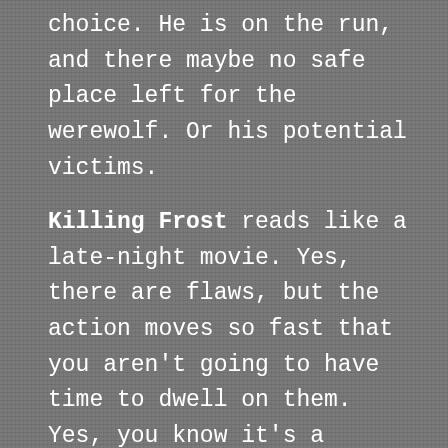choice. He is on the run, and there maybe no safe place left for the werewolf. Or his potential victims.
Killing Frost reads like a late-night movie. Yes, there are flaws, but the action moves so fast that you aren't going to have time to dwell on them. Yes, you know it's a school night, but you are going to stay up until you finish it. And, yes, you'd be really surprised to hear it mentioned at an awards